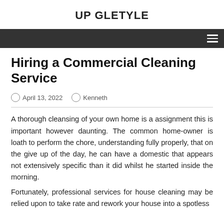UP GLETYLE
Hiring a Commercial Cleaning Service
April 13, 2022   Kenneth
A thorough cleansing of your own home is a assignment this is important however daunting. The common home-owner is loath to perform the chore, understanding fully properly, that on the give up of the day, he can have a domestic that appears not extensively specific than it did whilst he started inside the morning.
Fortunately, professional services for house cleaning may be relied upon to take rate and rework your house into a spotless